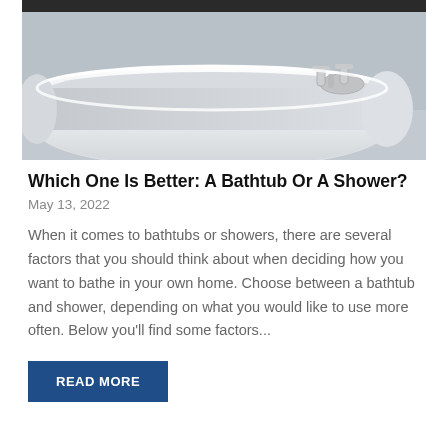[Figure (photo): A modern freestanding white bathtub with chrome faucets photographed from above and to the side against a light gray background with a dark window frame visible at the top.]
Which One Is Better: A Bathtub Or A Shower?
May 13, 2022
When it comes to bathtubs or showers, there are several factors that you should think about when deciding how you want to bathe in your own home. Choose between a bathtub and shower, depending on what you would like to use more often. Below you'll find some factors...
READ MORE